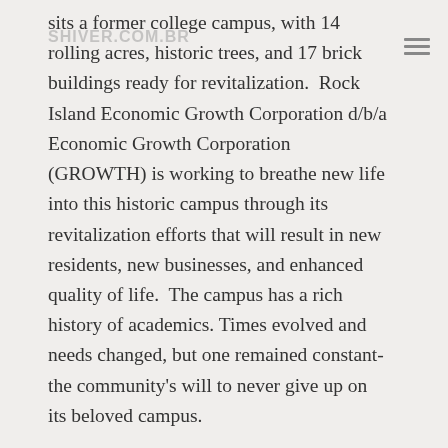SHIVER.COM.BR
sits a former college campus, with 14 rolling acres, historic trees, and 17 brick buildings ready for revitalization.  Rock Island Economic Growth Corporation d/b/a Economic Growth Corporation (GROWTH) is working to breathe new life into this historic campus through its revitalization efforts that will result in new residents, new businesses, and enhanced quality of life.  The campus has a rich history of academics. Times evolved and needs changed, but one remained constant- the community's will to never give up on its beloved campus.
In 2018, citizens joined together for the sake of their historic asset in search of a community-